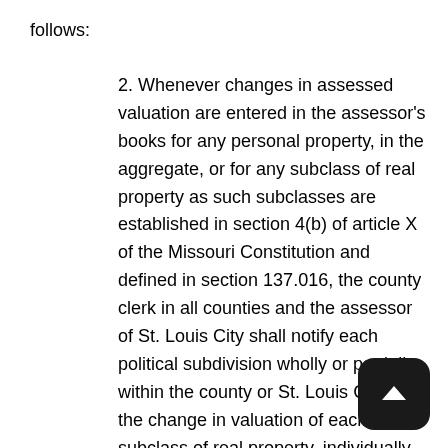follows:
2. Whenever changes in assessed valuation are entered in the assessor's books for any personal property, in the aggregate, or for any subclass of real property as such subclasses are established in section 4(b) of article X of the Missouri Constitution and defined in section 137.016, the county clerk in all counties and the assessor of St. Louis City shall notify each political subdivision wholly or partially within the county or St. Louis City of the change in valuation of each subclass of real property, individually, and personal property, in the aggregate, exclusive of new construction and improvements. All political subdivisions shall immediately revise the applicable rates of levy for each purpose for each subclass of real property, individually, and personal property, in the aggregate, for which taxes are levied to the extent necessary to pr[event the total amount of taxes levied against all taxable property] from all taxable property, exclusive of new constructi[on] and improvements, substantially the same amount of tax